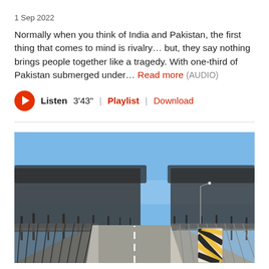1 Sep 2022
Normally when you think of India and Pakistan, the first thing that comes to mind is rivalry… but, they say nothing brings people together like a tragedy. With one-third of Pakistan submerged under… Read more (AUDIO)
Listen 3'43" | Playlist | Download
[Figure (photo): A two-lane road bridge stretching into the distance with bare winter trees on both sides, a clear blue sky, chain-link railings, and a black-and-yellow striped warning post on the right side.]